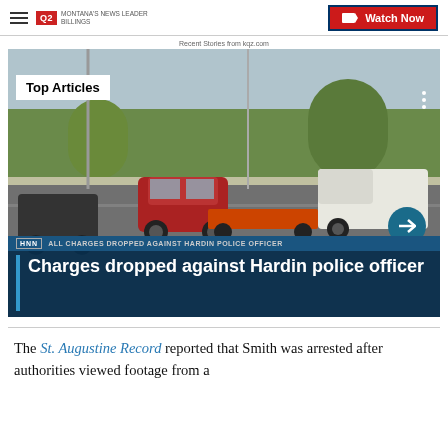Q2 Montana's News Leader Billings | Watch Now
Recent Stories from kqz.com
[Figure (screenshot): News broadcast screenshot showing cars on a road with 'Top Articles' badge, 'ALL CHARGES DROPPED AGAINST HARDIN POLICE OFFICER' lower-third, and headline 'Charges dropped against Hardin police officer']
The St. Augustine Record reported that Smith was arrested after authorities viewed footage from a